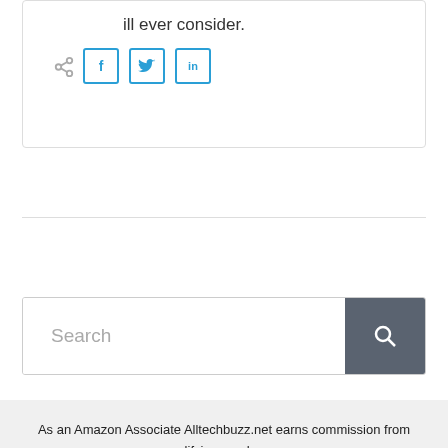ill ever consider.
[Figure (other): Share icon and social media buttons for Facebook, Twitter, and LinkedIn]
[Figure (other): Search bar with text input placeholder 'Search' and a dark search button with magnifying glass icon]
As an Amazon Associate Alltechbuzz.net earns commission from qualifying purchases.
Email: admin@alltechbuzz.net